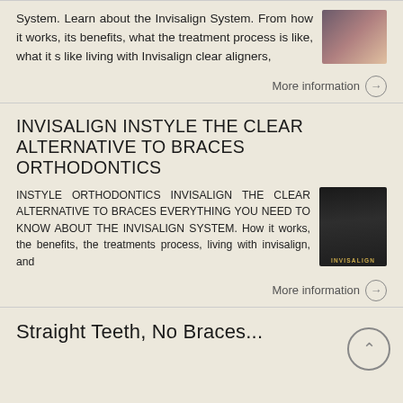System. Learn about the Invisalign System. From how it works, its benefits, what the treatment process is like, what it s like living with Invisalign clear aligners,
More information →
INVISALIGN INSTYLE THE CLEAR ALTERNATIVE TO BRACES ORTHODONTICS
INSTYLE ORTHODONTICS INVISALIGN THE CLEAR ALTERNATIVE TO BRACES EVERYTHING YOU NEED TO KNOW ABOUT THE INVISALIGN SYSTEM. How it works, the benefits, the treatments process, living with invisalign, and
More information →
Straight Teeth, No Braces...